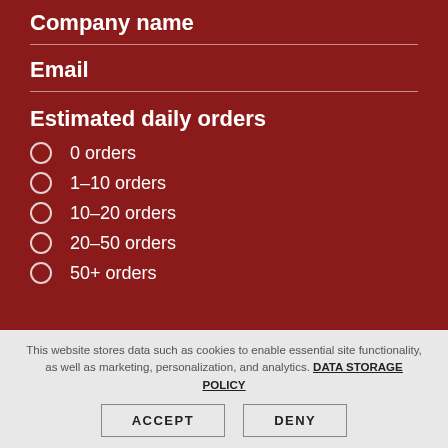Company name
Email
Estimated daily orders
0 orders
1–10 orders
10–20 orders
20–50 orders
50+ orders
This website stores data such as cookies to enable essential site functionality, as well as marketing, personalization, and analytics. DATA STORAGE POLICY
ACCEPT
DENY